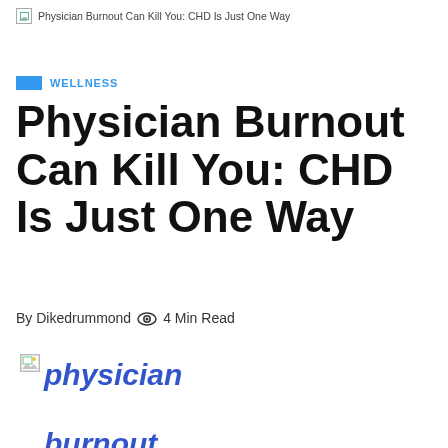Physician Burnout Can Kill You: CHD Is Just One Way
WELLNESS
Physician Burnout Can Kill You: CHD Is Just One Way
By Dikedrummond  4 Min Read
[Figure (photo): Broken image placeholder with alt text showing 'physician burnout and']